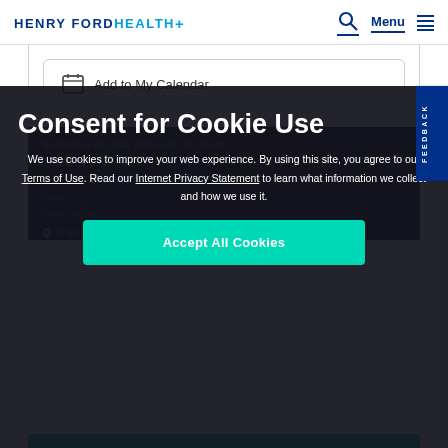HENRY FORD HEALTH+ | Menu
Add to My Calendar
September 21, 2022 10:00 AM - 11:00 AM
Email us to cancel your registration: CaregiverResources@hfhs.org
Online
Class Only M...
Maps & Directions
Consent for Cookie Use
We use cookies to improve your web experience. By using this site, you agree to our Terms of Use. Read our Internet Privacy Statement to learn what information we collect and how we use it.
Accept All Cookies